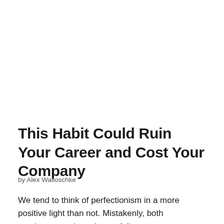This Habit Could Ruin Your Career and Cost Your Company
by Alex Walloschke
We tend to think of perfectionism in a more positive light than not. Mistakenly, both employees and employers fall into this trap of thinking: "More is better, harder is best."